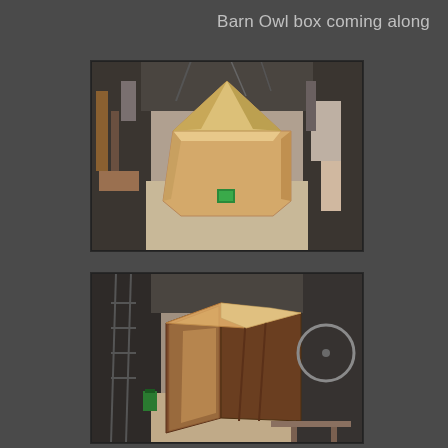Barn Owl box coming along
[Figure (photo): Top-down interior view of a wooden barn owl nesting box under construction, showing the open top, triangular roof peak front panel, and plywood interior, in a garage workshop setting.]
[Figure (photo): Angled view of the same wooden barn owl nesting box showing the exterior side panels painted dark brown and the open front, also in a garage workshop setting.]